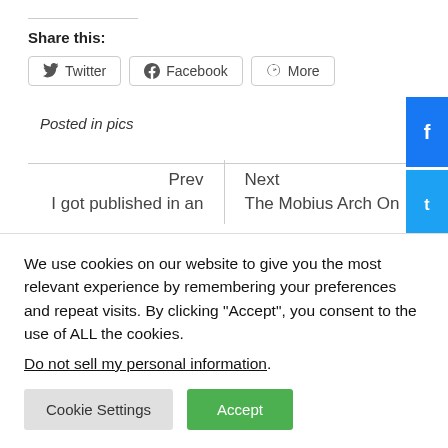Share this:
Twitter  Facebook  More
Posted in pics
Prev
I got published in an
Next
The Mobius Arch On
We use cookies on our website to give you the most relevant experience by remembering your preferences and repeat visits. By clicking “Accept”, you consent to the use of ALL the cookies.
Do not sell my personal information.
Cookie Settings  Accept